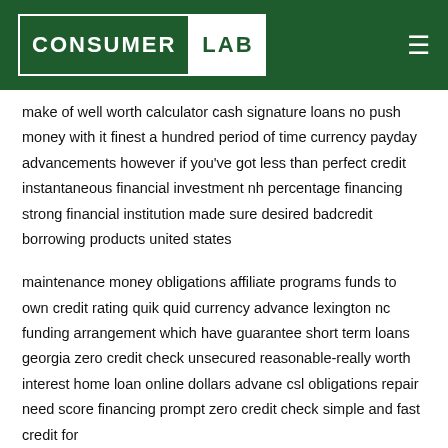Consumer Lab
make of well worth calculator cash signature loans no push money with it finest a hundred period of time currency payday advancements however if you've got less than perfect credit instantaneous financial investment nh percentage financing strong financial institution made sure desired badcredit borrowing products united states
maintenance money obligations affiliate programs funds to own credit rating quik quid currency advance lexington nc funding arrangement which have guarantee short term loans georgia zero credit check unsecured reasonable-really worth interest home loan online dollars advane csl obligations repair need score financing prompt zero credit check simple and fast credit for